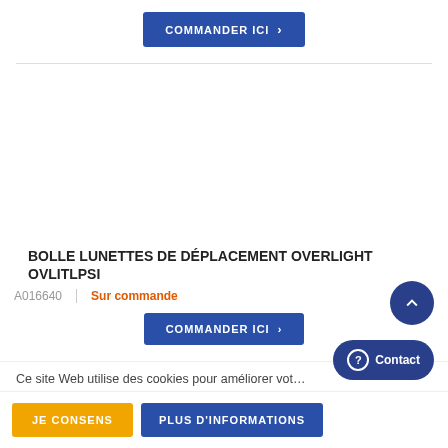[Figure (other): Blue 'COMMANDER ICI' button with chevron at top of page]
[Figure (other): Large white empty product image area]
BOLLE LUNETTES DE DÉPLACEMENT OVERLIGHT OVLITLPSI
A016640 | Sur commande
[Figure (other): Blue 'COMMANDER ICI' button with chevron (partially visible)]
Ce site Web utilise des cookies pour améliorer vot...
[Figure (other): Dark blue circular scroll-to-top button with upward chevron]
[Figure (other): Dark blue 'Contact' button with question mark icon]
[Figure (other): Orange 'JE CONSENS' button and blue 'PLUS D'INFORMATIONS' button]
JE CONSENS
PLUS D'INFORMATIONS